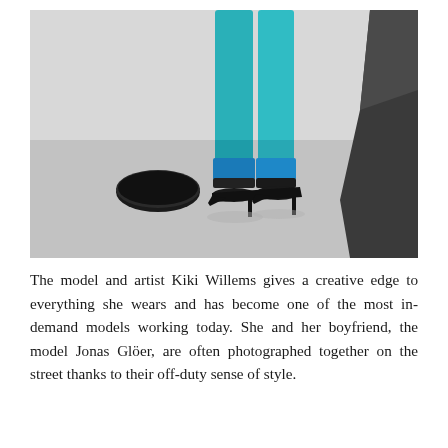[Figure (photo): A fashion photograph showing the lower body of a model wearing turquoise/teal leggings with black ankle accents and black pointed-toe high heels, standing on a light grey floor surface. There is a dark circular hole in the floor to the left, and a dark geometric angular shape (possibly a box or wall edge) on the right side of the image.]
The model and artist Kiki Willems gives a creative edge to everything she wears and has become one of the most in-demand models working today. She and her boyfriend, the model Jonas Glöer, are often photographed together on the street thanks to their off-duty sense of style.